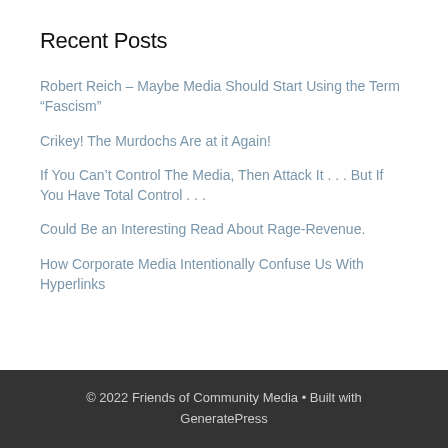Recent Posts
Robert Reich – Maybe Media Should Start Using the Term “Fascism”
Crikey! The Murdochs Are at it Again!
If You Can’t Control The Media, Then Attack It . . . But If You Have Total Control . . .
Could Be an Interesting Read About Rage-Revenue.
How Corporate Media Intentionally Confuse Us With Hyperlinks
© 2022 Friends of Community Media • Built with GeneratePress